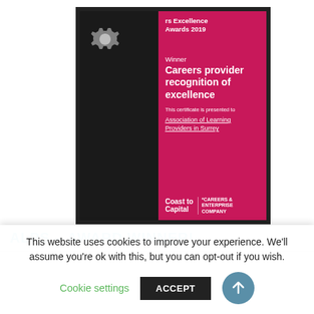[Figure (photo): Framed award certificate in a black frame. Left half is dark/black showing a reflection of a person. Right half is bright pink/magenta showing: 'rs Excellence Awards 2019' at top with a gear logo, 'Winner' label, 'Careers provider recognition of excellence' in bold, 'This certificate is presented to', 'Association of Learning Providers in Surrey' underlined, and at bottom 'Coast to Capital' and 'CAREERS & ENTERPRISE COMPANY' logos.]
ALPS – AWARD WINNER!
This website uses cookies to improve your experience. We'll assume you're ok with this, but you can opt-out if you wish.
Cookie settings  ACCEPT